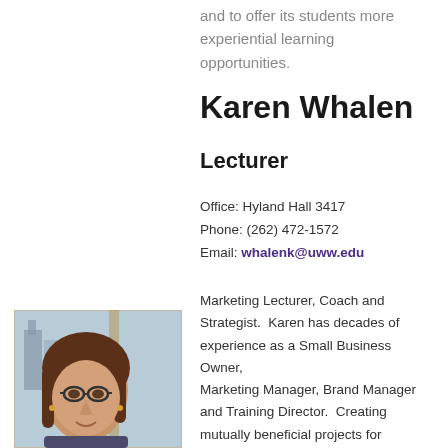and to offer its students more experiential learning opportunities.
Karen Whalen
Lecturer
Office: Hyland Hall 3417
Phone: (262) 472-1572
Email: whalenk@uww.edu
[Figure (photo): Portrait photo of Karen Whalen, a woman with long brown hair and glasses, seated near a window with a city skyline visible in the background.]
Marketing Lecturer, Coach and Strategist.  Karen has decades of experience as a Small Business Owner, Marketing Manager, Brand Manager and Training Director.  Creating mutually beneficial projects for students and the community is a true